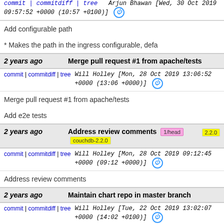Arjun Bhawan [Wed, 30 Oct 2019 09:57:52 +0000 (10:57 +0100)]
Add configurable path

* Makes the path in the ingress configurable, defa
2 years ago   Merge pull request #1 from apache/tests
commit | commitdiff | tree   Will Holley [Mon, 28 Oct 2019 13:06:52 +0000 (13:06 +0000)]
Merge pull request #1 from apache/tests

Add e2e tests
2 years ago   Address review comments  1/head  couchdb-2.2.0
commit | commitdiff | tree   Will Holley [Mon, 28 Oct 2019 09:12:45 +0000 (09:12 +0000)]
Address review comments
2 years ago   Maintain chart repo in master branch
commit | commitdiff | tree   Will Holley [Tue, 22 Oct 2019 13:02:07 +0000 (14:02 +0100)]